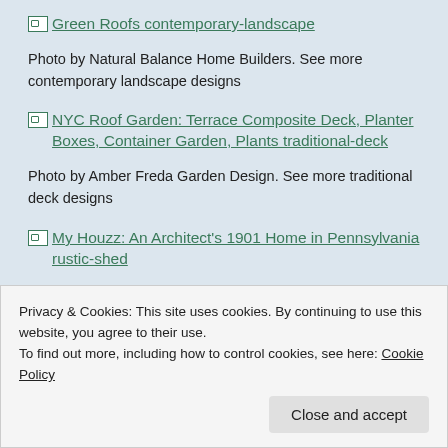Green Roofs contemporary-landscape
Photo by Natural Balance Home Builders. See more contemporary landscape designs
NYC Roof Garden: Terrace Composite Deck, Planter Boxes, Container Garden, Plants traditional-deck
Photo by Amber Freda Garden Design. See more traditional deck designs
My Houzz: An Architect's 1901 Home in Pennsylvania rustic-shed
Privacy & Cookies: This site uses cookies. By continuing to use this website, you agree to their use.
To find out more, including how to control cookies, see here: Cookie Policy
Close and accept